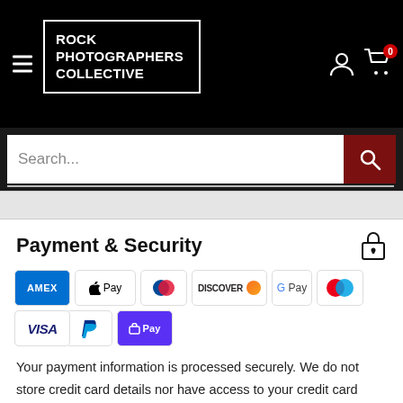ROCK PHOTOGRAPHERS COLLECTIVE
[Figure (screenshot): Website navigation bar with hamburger menu, Rock Photographers Collective logo in a white bordered box, user account icon and cart icon with 0 badge on black background]
[Figure (screenshot): Search bar with placeholder text 'Search...' and dark red search button with magnifying glass icon]
Payment & Security
[Figure (infographic): Payment method icons: American Express (AMEX), Apple Pay, Diners Club, Discover, Google Pay, Maestro, Mastercard, PayPal, Shop Pay, Visa]
Your payment information is processed securely. We do not store credit card details nor have access to your credit card information.